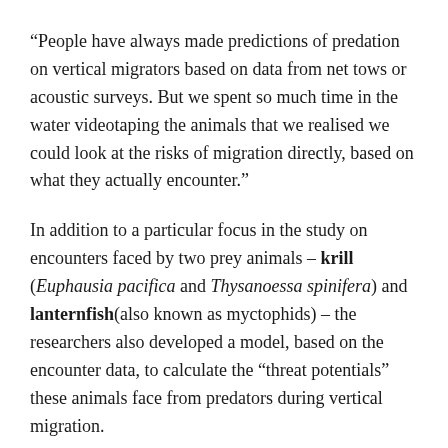“People have always made predictions of predation on vertical migrators based on data from net tows or acoustic surveys. But we spent so much time in the water videotaping the animals that we realised we could look at the risks of migration directly, based on what they actually encounter.”
In addition to a particular focus in the study on encounters faced by two prey animals – krill (Euphausia pacifica and Thysanoessa spinifera) and lanternfish (also known as myctophids) – the researchers also developed a model, based on the encounter data, to calculate the “threat potentials” these animals face from predators during vertical migration.
“Threat potential is a measure of the latent risk of encountering a potential predator or obstacle during diel